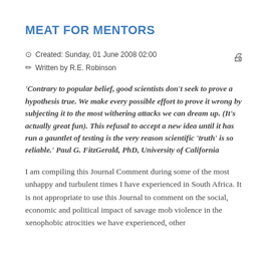MEAT FOR MENTORS
Created: Sunday, 01 June 2008 02:00
Written by R.E. Robinson
'Contrary to popular belief, good scientists don't seek to prove a hypothesis true. We make every possible effort to prove it wrong by subjecting it to the most withering attacks we can dream up. (It's actually great fun). This refusal to accept a new idea until it has run a gauntlet of testing is the very reason scientific 'truth' is so reliable.' Paul G. FitzGerald, PhD, University of California
I am compiling this Journal Comment during some of the most unhappy and turbulent times I have experienced in South Africa. It is not appropriate to use this Journal to comment on the social, economic and political impact of savage mob violence in the xenophobic atrocities we have experienced, other